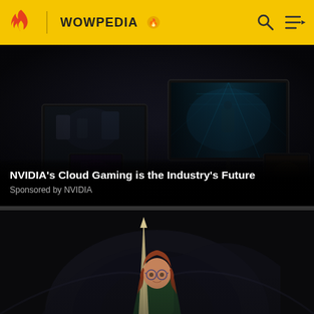WOWPEDIA
[Figure (screenshot): Dark scene showing multiple gaming monitors displaying video game scenes including a sci-fi corridor with green lighting. NVIDIA cloud gaming promotional image.]
NVIDIA's Cloud Gaming is the Industry's Future
Sponsored by NVIDIA
[Figure (illustration): Animated character with red/auburn hair wearing glasses and a green outfit, holding a pointed object. Fantasy/gaming art style with dark tunnel background.]